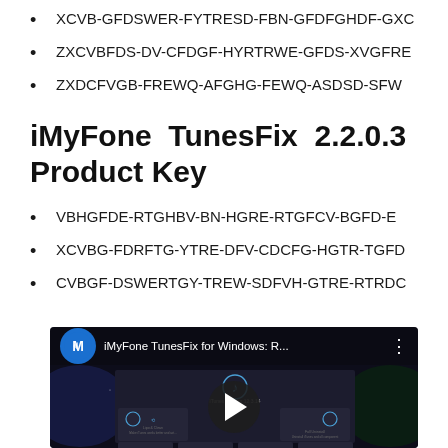XCVB-GFDSWER-FYTRESD-FBN-GFDFGHDF-GXC
ZXCVBFDS-DV-CFDGF-HYRTRWE-GFDS-XVGFRE
ZXDCFVGB-FREWQ-AFGHG-FEWQ-ASDSD-SFW
iMyFone TunesFix 2.2.0.3 Product Key
VBHGFDE-RTGHBV-BN-HGRE-RTGFCV-BGFD-E
XCVBG-FDRFTG-YTRE-DFV-CDCFG-HGTR-TGFD
CVBGF-DSWERTGY-TREW-SDFVH-GTRE-RTRDC
[Figure (screenshot): YouTube video thumbnail for 'iMyFone TunesFix for Windows: R...' showing the iMyFone TunesFix software interface with a play button overlay]